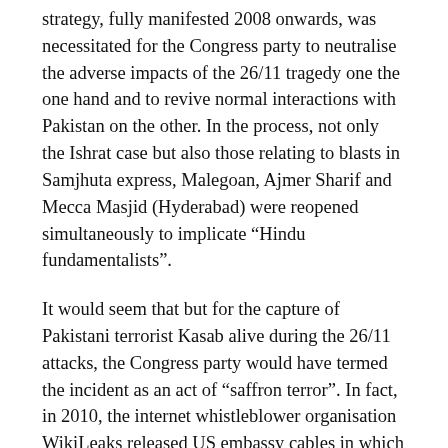strategy, fully manifested 2008 onwards, was necessitated for the Congress party to neutralise the adverse impacts of the 26/11 tragedy one the one hand and to revive normal interactions with Pakistan on the other. In the process, not only the Ishrat case but also those relating to blasts in Samjhuta express, Malegoan, Ajmer Sharif and Mecca Masjid (Hyderabad) were reopened simultaneously to implicate “Hindu fundamentalists”.
It would seem that but for the capture of Pakistani terrorist Kasab alive during the 26/11 attacks, the Congress party would have termed the incident as an act of “saffron terror”. In fact, in 2010, the internet whistleblower organisation WikiLeaks released US embassy cables in which the then US ambassador to India was told by a senior Indian minister that the death of Hemant Karkare, a senior anti-terrorism investigator killed during the 2008 Mumbai attacks, was